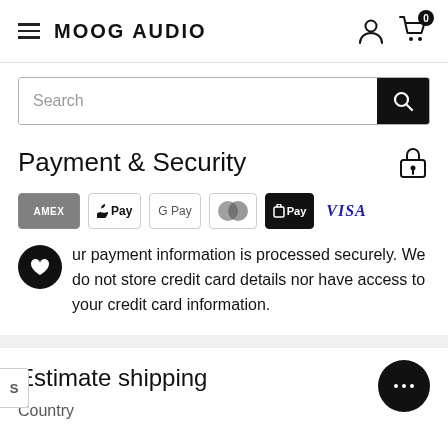MOOG AUDIO
Search
Payment & Security
[Figure (other): Payment method icons: American Express, Apple Pay, Google Pay, Mastercard, Shop Pay, Visa]
Your payment information is processed securely. We do not store credit card details nor have access to your credit card information.
Estimate shipping
Country